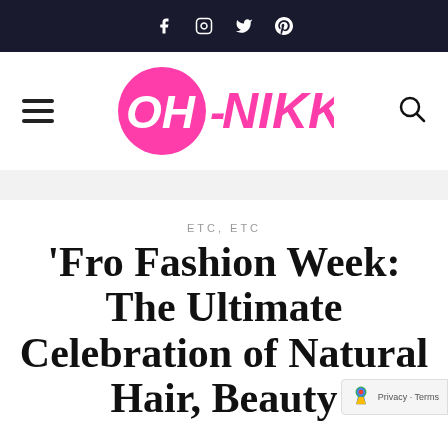Social icons: Facebook, Instagram, Twitter, Pinterest
[Figure (logo): OH-NIKKA logo in pink with circular OH element and bold NIKKA text]
ETC, ETC
'Fro Fashion Week: The Ultimate Celebration of Natural Hair, Beauty and Style, in photos